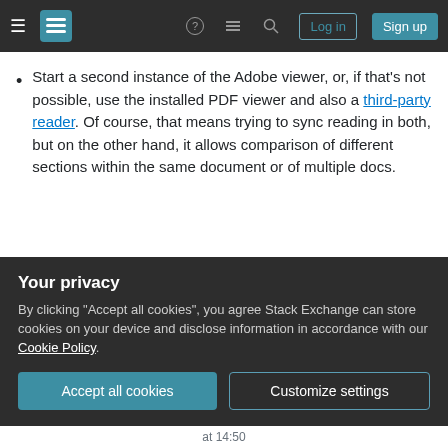Stack Exchange navigation bar with hamburger menu, logo, help, chat, search icons, Log in and Sign up buttons
Start a second instance of the Adobe viewer, or, if that's not possible, use the installed PDF viewer and also a third-party reader. Of course, that means trying to sync reading in both, but on the other hand, it allows comparison of different sections within the same document or of multiple docs.
Share   Improve this answer   Follow   answered Oct 10, 2018 at 14:33   DrMoishe Pippik   21k  4  32  49
Your privacy
By clicking "Accept all cookies", you agree Stack Exchange can store cookies on your device and disclose information in accordance with our Cookie Policy.
Accept all cookies   Customize settings
at 14:50